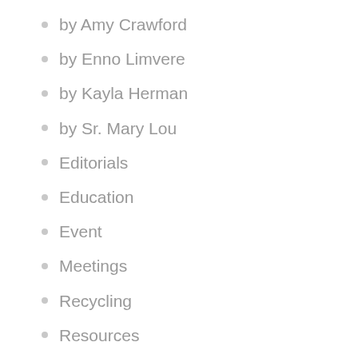by Amy Crawford
by Enno Limvere
by Kayla Herman
by Sr. Mary Lou
Editorials
Education
Event
Meetings
Recycling
Resources
Uncategorized